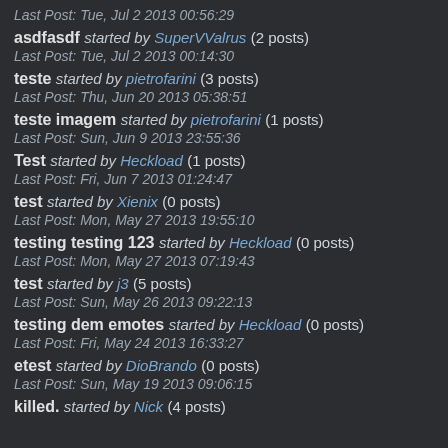Last Post: Tue, Jul 2 2013 00:56:29
asdfasdf started by SuperVValrus (2 posts)
Last Post: Tue, Jul 2 2013 00:14:30
teste started by pietrofarini (3 posts)
Last Post: Thu, Jun 20 2013 05:38:51
teste imagem started by pietrofarini (1 posts)
Last Post: Sun, Jun 9 2013 23:55:36
Test started by Heckload (1 posts)
Last Post: Fri, Jun 7 2013 01:24:47
test started by Xienix (0 posts)
Last Post: Mon, May 27 2013 19:55:10
testing testing 123 started by Heckload (0 posts)
Last Post: Mon, May 27 2013 07:19:43
test started by j3 (5 posts)
Last Post: Sun, May 26 2013 09:22:13
testing dem emotes started by Heckload (0 posts)
Last Post: Fri, May 24 2013 16:33:27
etest started by DioBrando (0 posts)
Last Post: Sun, May 19 2013 09:06:15
killed. started by Nick (4 posts)